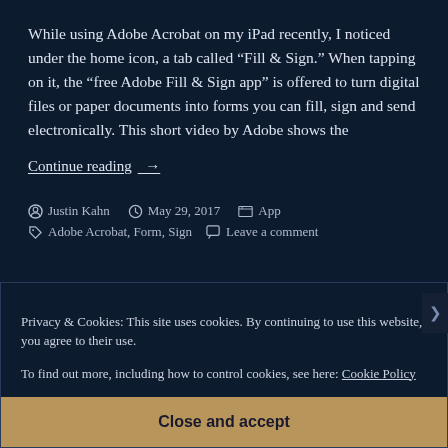While using Adobe Acrobat on my iPad recently, I noticed under the home icon, a tab called “Fill & Sign.” When tapping on it, the “free Adobe Fill & Sign app” is offered to turn digital files or paper documents into forms you can fill, sign and send electronically. This short video by Adobe shows the
Continue reading →
Justin Kahn   May 29, 2017   App
Adobe Acrobat, Form, Sign   Leave a comment
Privacy & Cookies: This site uses cookies. By continuing to use this website, you agree to their use.
To find out more, including how to control cookies, see here: Cookie Policy
Close and accept